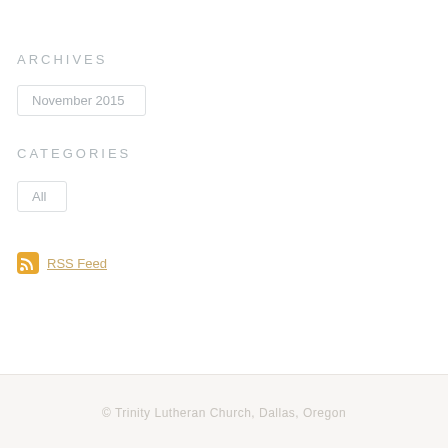ARCHIVES
November 2015
CATEGORIES
All
RSS Feed
© Trinity Lutheran Church, Dallas, Oregon